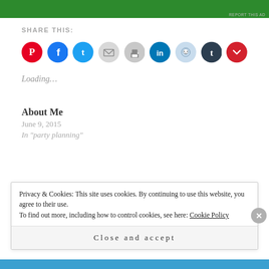[Figure (other): Green advertisement bar at top of page with 'REPORT THIS AD' text in bottom right]
SHARE THIS:
[Figure (other): Row of social sharing icon circles: Pinterest (red), Facebook (blue), Twitter (light blue), Email (gray), Print (gray), LinkedIn (dark blue), Reddit (light blue), Tumblr (dark navy), Pocket (red)]
Loading…
About Me
June 9, 2015
In "party planning"
Privacy & Cookies: This site uses cookies. By continuing to use this website, you agree to their use.
To find out more, including how to control cookies, see here: Cookie Policy
Close and accept